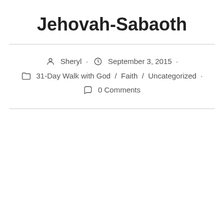Jehovah-Sabaoth
Sheryl · September 3, 2015 · 31-Day Walk with God / Faith / Uncategorized · 0 Comments